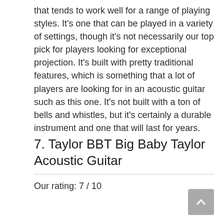that tends to work well for a range of playing styles. It’s one that can be played in a variety of settings, though it’s not necessarily our top pick for players looking for exceptional projection. It’s built with pretty traditional features, which is something that a lot of players are looking for in an acoustic guitar such as this one. It’s not built with a ton of bells and whistles, but it’s certainly a durable instrument and one that will last for years.
7. Taylor BBT Big Baby Taylor Acoustic Guitar
Our rating: 7 / 10